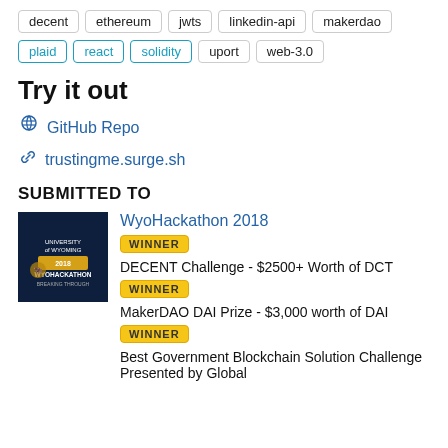decent  ethereum  jwts  linkedin-api  makerdao
plaid  react  solidity  uport  web-3.0
Try it out
GitHub Repo
trustingme.surge.sh
SUBMITTED TO
WyoHackathon 2018
WINNER DECENT Challenge - $2500+ Worth of DCT
WINNER MakerDAO DAI Prize - $3,000 worth of DAI
WINNER Best Government Blockchain Solution Challenge Presented by Global